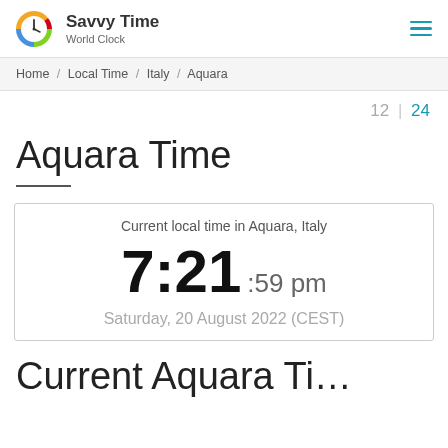Savvy Time World Clock
Home / Local Time / Italy / Aquara
12 | 24
Aquara Time
Current local time in Aquara, Italy
7:21 :59 pm
Saturday, 20 August 2022 (CEST)
Current Aquara Ti…